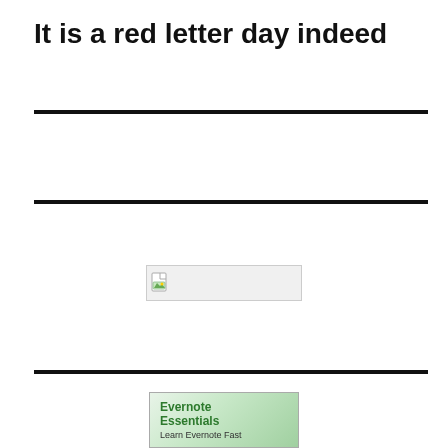It is a red letter day indeed
[Figure (illustration): Broken image placeholder icon with light gray background and border]
[Figure (illustration): Evernote Essentials book cover — green gradient background with text 'Evernote Essentials Learn Evernote Fast']